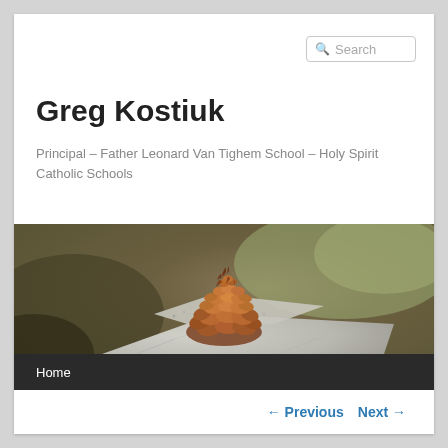Search
Greg Kostiuk
Principal – Father Leonard Van Tighem School – Holy Spirit Catholic Schools
[Figure (photo): A pine cone resting on top of a granite stone block, with a blurred brownish-green background. Black navigation bar below with 'Home' link.]
← Previous   Next →